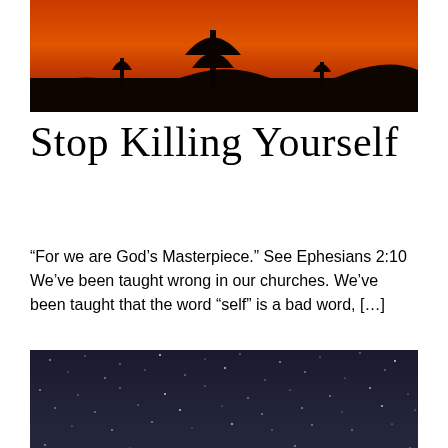[Figure (photo): Sunset silhouette image showing an orange/red sky with dark tree silhouettes and landscape along the bottom]
Stop Killing Yourself
“For we are God’s Masterpiece.” See Ephesians 2:10 We’ve been taught wrong in our churches. We’ve been taught that the word “self” is a bad word, […]
[Figure (photo): Night sky photograph showing a dark blue-grey sky filled with numerous stars]